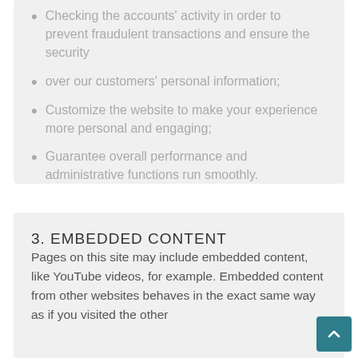Checking the accounts' activity in order to prevent fraudulent transactions and ensure the security
over our customers' personal information;
Customize the website to make your experience more personal and engaging;
Guarantee overall performance and administrative functions run smoothly.
3. EMBEDDED CONTENT
Pages on this site may include embedded content, like YouTube videos, for example. Embedded content from other websites behaves in the exact same way as if you visited the other